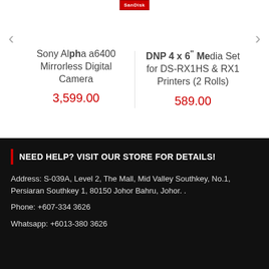[Figure (logo): SanDisk logo in red]
Sony Alpha a6400 Mirrorless Digital Camera
3,599.00
DNP 4 x 6" Media Set for DS-RX1HS & RX1 Printers (2 Rolls)
589.00
NEED HELP? VISIT OUR STORE FOR DETAILS!
Address: S-039A, Level 2, The Mall, Mid Valley Southkey, No.1, Persiaran Southkey 1, 80150 Johor Bahru, Johor. .
Phone: +607-334 3626
Whatsapp: +6013-380 3626